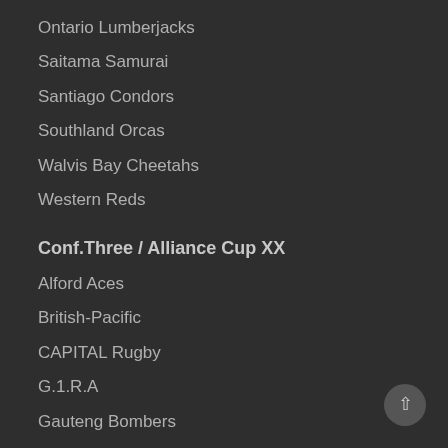Ontario Lumberjacks
Saitama Samurai
Santiago Condors
Southland Orcas
Walvis Bay Cheetahs
Western Reds
Conf.Three / Alliance Cup XX
Alford Aces
British-Pacific
CAPITAL Rugby
G.1.R.A
Gauteng Bombers